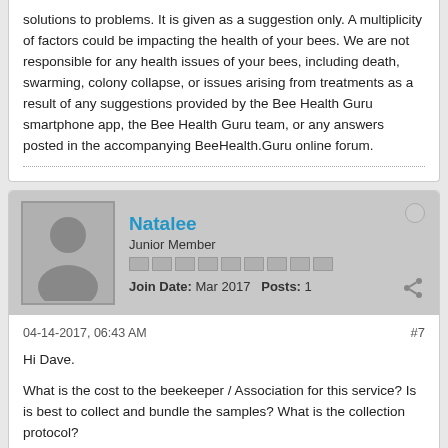solutions to problems. It is given as a suggestion only. A multiplicity of factors could be impacting the health of your bees. We are not responsible for any health issues of your bees, including death, swarming, colony collapse, or issues arising from treatments as a result of any suggestions provided by the Bee Health Guru smartphone app, the Bee Health Guru team, or any answers posted in the accompanying BeeHealth.Guru online forum.
Natalee
Junior Member
Join Date: Mar 2017   Posts: 1
04-14-2017, 06:43 AM
#7

Hi Dave.

What is the cost to the beekeeper / Association for this service? Is is best to collect and bundle the samples? What is the collection protocol?

I participated in the APHIS survey last year, but you must have 10 hives in one apiary to participate. I know a few beekeepers that would like access to this kind of service, on a smaller scale.
Dave Wiek